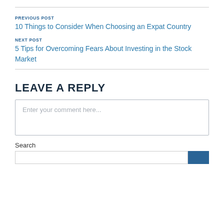PREVIOUS POST
10 Things to Consider When Choosing an Expat Country
NEXT POST
5 Tips for Overcoming Fears About Investing in the Stock Market
LEAVE A REPLY
Enter your comment here...
Search